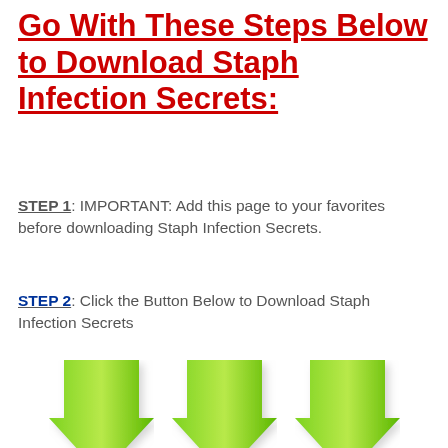Go With These Steps Below to Download Staph Infection Secrets:
STEP 1: IMPORTANT: Add this page to your favorites before downloading Staph Infection Secrets.
STEP 2: Click the Button Below to Download Staph Infection Secrets
[Figure (illustration): Three green downward-pointing arrow icons arranged horizontally]